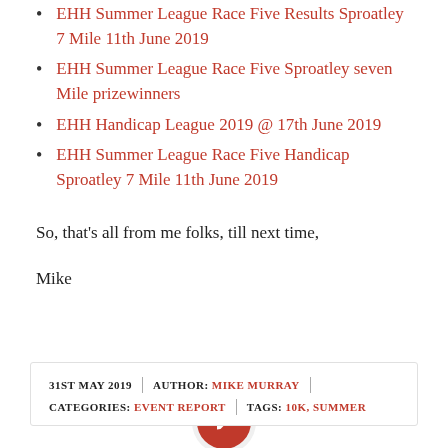EHH Summer League Race Five Results Sproatley 7 Mile 11th June 2019
EHH Summer League Race Five Sproatley seven Mile prizewinners
EHH Handicap League 2019 @ 17th June 2019
EHH Summer League Race Five Handicap Sproatley 7 Mile 11th June 2019
So, that’s all from me folks, till next time,
Mike
31ST MAY 2019 | AUTHOR: MIKE MURRAY | CATEGORIES: EVENT REPORT | TAGS: 10K, SUMMER